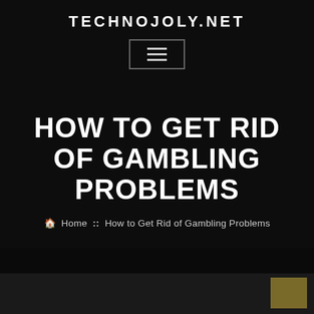TECHNOJOLY.NET
[Figure (other): Hamburger menu button icon with three horizontal lines inside a bordered rectangle]
HOW TO GET RID OF GAMBLING PROBLEMS
🏠  Home  ::  How to Get Rid of Gambling Problems